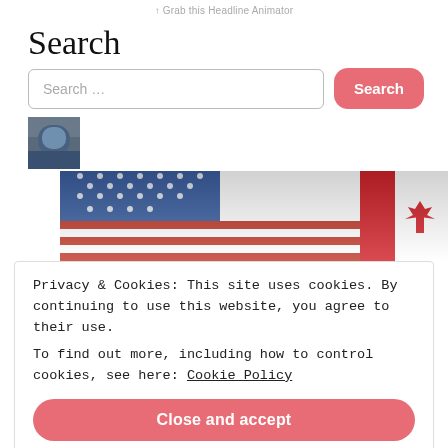↑ Grab this Headline Animator
Search
Search …
[Figure (photo): Small thumbnail image of a person in blue shirt]
[Figure (photo): US and Canadian flags waving together]
Privacy & Cookies: This site uses cookies. By continuing to use this website, you agree to their use.
To find out more, including how to control cookies, see here: Cookie Policy
Close and accept
Archi